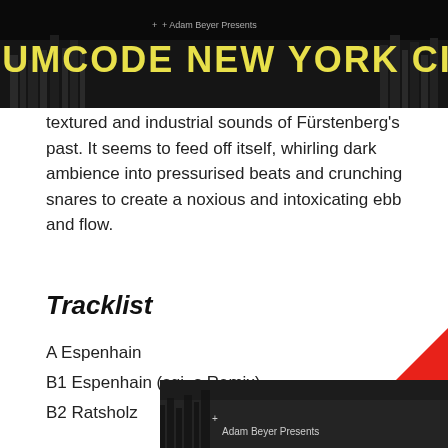[Figure (photo): Drumcode New York City event banner with city skyline background and bold yellow text reading 'DRUMCODE NEW YORK CITY', small text '+ Adam Beyer Presents' top left]
textured and industrial sounds of Fürstenberg's past. It seems to feed off itself, whirling dark ambience into pressurised beats and crunching snares to create a noxious and intoxicating ebb and flow.
Tracklist
A Espenhain
B1 Espenhain (sgi_s Remix)
B2 Ratsholz
[Figure (photo): Partial image at bottom showing city skyline with text '+ Adam Beyer Presents' overlaid, dark toned photo, RA logo in red triangle lower right corner]